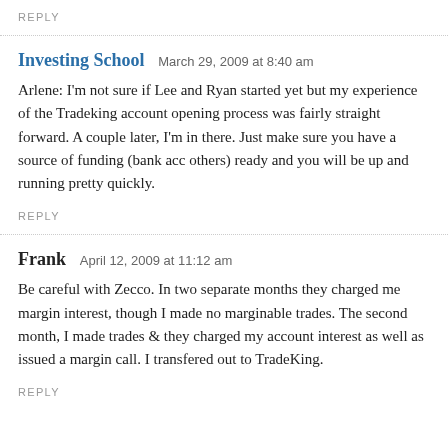REPLY
Investing School   March 29, 2009 at 8:40 am
Arlene: I'm not sure if Lee and Ryan started yet but my experience of the Tradeking account opening process was fairly straight forward. A couple later, I'm in there. Just make sure you have a source of funding (bank acc others) ready and you will be up and running pretty quickly.
REPLY
Frank   April 12, 2009 at 11:12 am
Be careful with Zecco. In two separate months they charged me margin interest, though I made no marginable trades. The second month, I made trades & they charged my account interest as well as issued a margin call. I transfered out to TradeKing.
REPLY